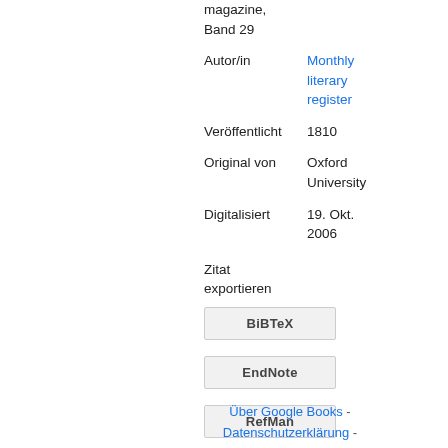magazine, Band 29
| Autor/in | Monthly literary register |
| Veröffentlicht | 1810 |
| Original von | Oxford University |
| Digitalisiert | 19. Okt. 2006 |
Zitat exportieren
BiBTeX
EndNote
RefMan
Über Google Books - Datenschutzerklärung -